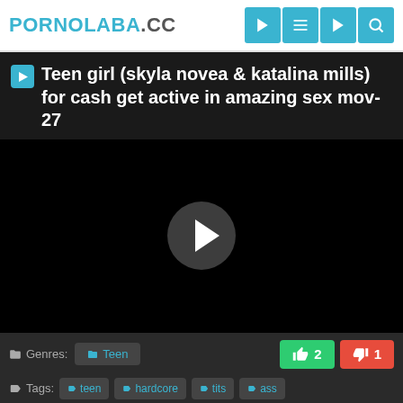PORNOLABA.CC
Teen girl (skyla novea & katalina mills) for cash get active in amazing sex mov-27
[Figure (screenshot): Video player with black background and circular play button in center]
Genres: Teen  2  1
Tags: teen  hardcore  tits  ass